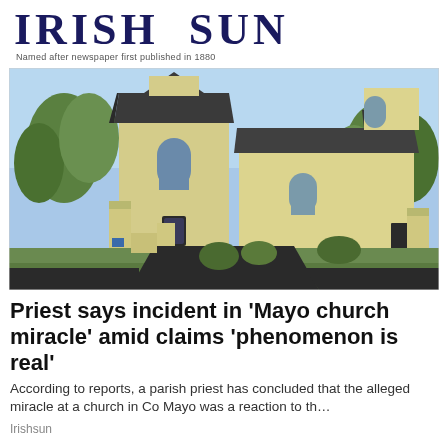IRISH SUN
Named after newspaper first published in 1880
[Figure (photo): Exterior photograph of a yellow/cream rendered Catholic church building in Co Mayo, Ireland. The church has a dark slate roof, arched windows, and is surrounded by trees and a stone wall with pillars. A tarmac driveway leads to the entrance.]
Priest says incident in 'Mayo church miracle' amid claims 'phenomenon is real'
According to reports, a parish priest has concluded that the alleged miracle at a church in Co Mayo was a reaction to th…
Irishsun